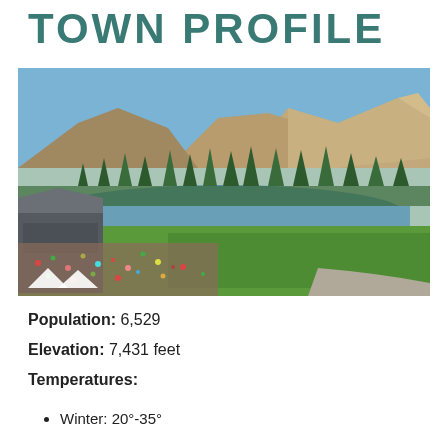TOWN PROFILE
[Figure (photo): Aerial view of a mountain town with an outdoor amphitheater, large crowd, green park, a river or lake, and brown mountain ridges in the background under blue sky.]
Population: 6,529
Elevation: 7,431 feet
Temperatures:
Winter: 20°-35°